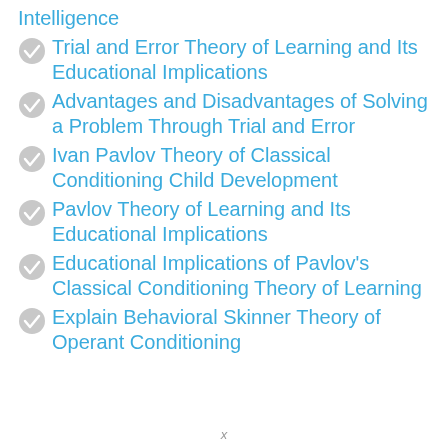Intelligence
Trial and Error Theory of Learning and Its Educational Implications
Advantages and Disadvantages of Solving a Problem Through Trial and Error
Ivan Pavlov Theory of Classical Conditioning Child Development
Pavlov Theory of Learning and Its Educational Implications
Educational Implications of Pavlov's Classical Conditioning Theory of Learning
Explain Behavioral Skinner Theory of Operant Conditioning